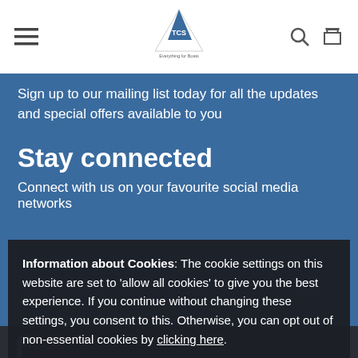TCS Chandlery — Everything for Boats
Sign up to our mailing list today for all the updates and special offers available to you
Stay connected
Connect with us on your favourite social media networks
Information about Cookies: The cookie settings on this website are set to 'allow all cookies' to give you the best experience. If you continue without changing these settings, you consent to this. Otherwise, you can opt out of non-essential cookies by clicking here.
Accept and close